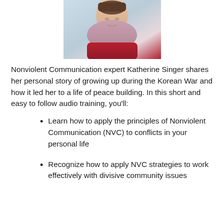[Figure (photo): Partial photo of a person (Katherine Singer) wearing a red sweater and pink turtleneck, cropped at the top of the page.]
Nonviolent Communication expert Katherine Singer shares her personal story of growing up during the Korean War and how it led her to a life of peace building. In this short and easy to follow audio training, you'll:
Learn how to apply the principles of Nonviolent Communication (NVC) to conflicts in your personal life
Recognize how to apply NVC strategies to work effectively with divisive community issues